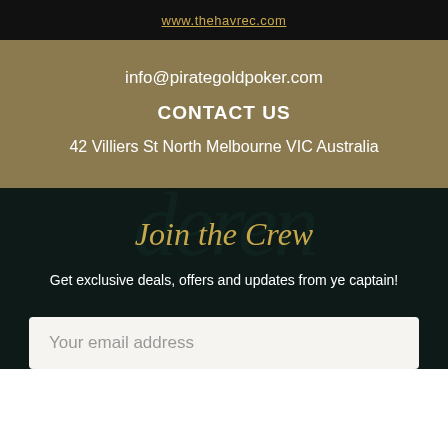www.thehavrec.com
info@pirategoldpoker.com
CONTACT US
42 Villiers St North Melbourne VIC Australia
Join the Crew
Get exclusive deals, offers and updates from ye captain!
Your email address